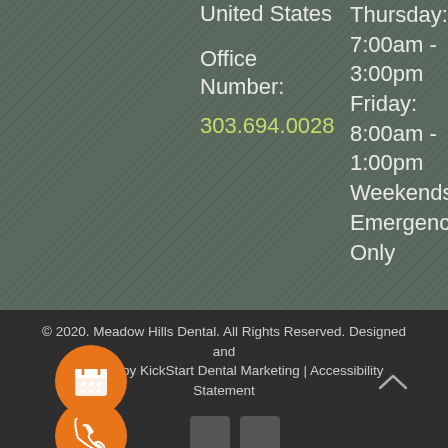United States
Office Number:
303.694.0028
Thursday: 7:00am - 3:00pm Friday: 8:00am - 1:00pm Weekends: Emergencies Only
© 2020. Meadow Hills Dental. All Rights Reserved. Designed and powered by KickStart Dental Marketing | Accessibility Statement